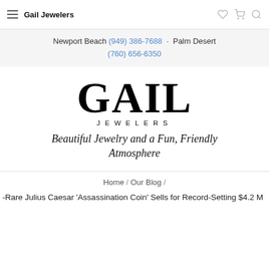Gail Jewelers
Newport Beach (949) 386-7688 · Palm Desert (760) 656-6350
[Figure (logo): Gail Jewelers logo with large serif GAIL text, JEWELERS in spaced caps, and tagline 'Beautiful Jewelry and a Fun, Friendly Atmosphere' in italic serif font.]
Home / Our Blog /
-Rare Julius Caesar 'Assassination Coin' Sells for Record-Setting $4.2 M